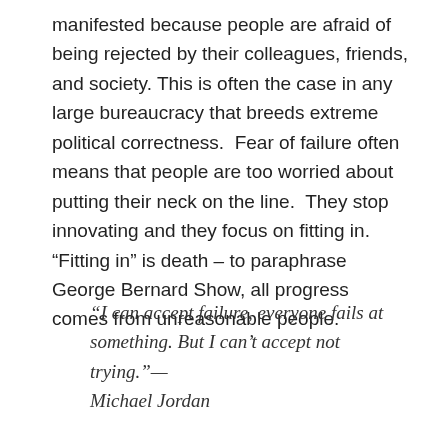manifested because people are afraid of being rejected by their colleagues, friends, and society. This is often the case in any large bureaucracy that breeds extreme political correctness. Fear of failure often means that people are too worried about putting their neck on the line. They stop innovating and they focus on fitting in. “Fitting in” is death – to paraphrase George Bernard Show, all progress comes from unreasonable people.
“I can accept failure, everyone fails at something. But I can’t accept not trying.”—Michael Jordan